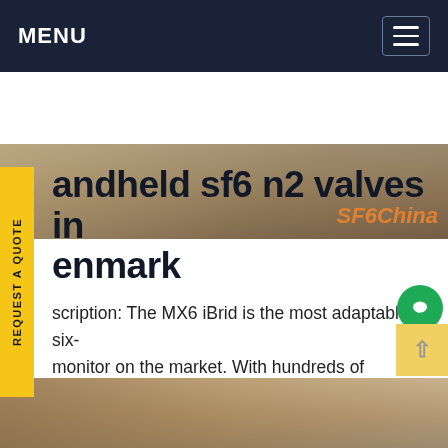MENU
[Figure (photo): Hero image strip showing a surface/material with SF6China orange brand text overlay]
handheld sf6 n2 valves in enmark
scription: The MX6 iBrid is the most adaptable six- monitor on the market. With hundreds of isible sensor combinations and a robust list of ilable configuration settings, the MX6 iBrid gas ector is ready to monitor oxygen, toxic and nbustible gas, and . Application: Personal Exposure Monitoring, Confined Space Monitoring, Ambient Air MonitoringGet price
[Figure (photo): Bottom image strip showing industrial equipment]